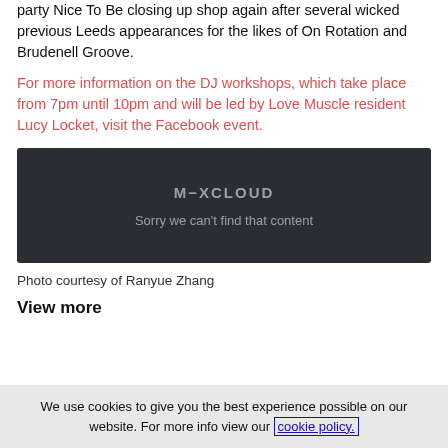party Nice To Be closing up shop again after several wicked previous Leeds appearances for the likes of On Rotation and Brudenell Groove.
For more information on the DJ workshops, which take place from 7pm until 10pm and will be led by Love Muscle resident Lucy Locket, visit the Facebook event.
[Figure (screenshot): Mixcloud embedded player showing error: M-XCLOUD logo with text 'Sorry we can't find that content']
Photo courtesy of Ranyue Zhang
View more
We use cookies to give you the best experience possible on our website. For more info view our cookie policy.